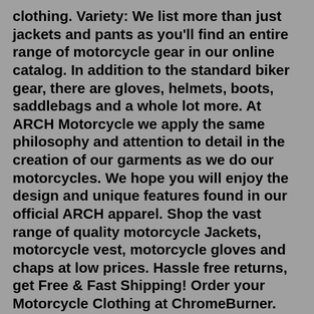clothing. Variety: We list more than just jackets and pants as you'll find an entire range of motorcycle gear in our online catalog. In addition to the standard biker gear, there are gloves, helmets, boots, saddlebags and a whole lot more. At ARCH Motorcycle we apply the same philosophy and attention to detail in the creation of our garments as we do our motorcycles. We hope you will enjoy the design and unique features found in our official ARCH apparel. Shop the vast range of quality motorcycle Jackets, motorcycle vest, motorcycle gloves and chaps at low prices. Hassle free returns, get Free & Fast Shipping! Order your Motorcycle Clothing at ChromeBurner. Great quality Motorcycle Clothing - Same day shipping - Best prices worldwide - Great advice US ... Our store Blog Partnerships Affiliate program Customer Service Opening hours Support Monday 09:00 - 18:00 Tuesday 09:00 - 18:00 ...RevZilla's goal is not just to carry all of the premium brand motorcycle jackets, leathers,